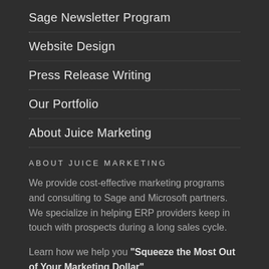Sage Newsletter Program
Website Design
Press Release Writing
Our Portfolio
About Juice Marketing
ABOUT JUICE MARKETING
We provide cost-effective marketing programs and consulting to Sage and Microsoft partners. We specialize in helping ERP providers keep in touch with prospects during a long sales cycle.
Learn how we help you "Squeeze the Most Out of Your Marketing Dollar"